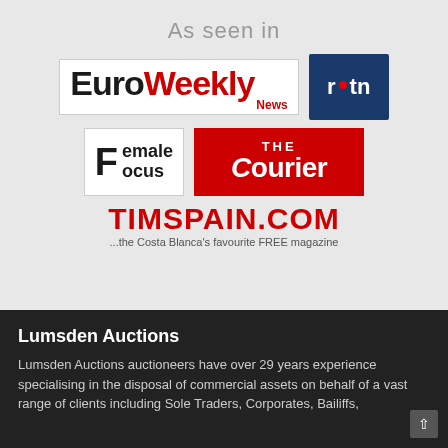As seen in
[Figure (logo): EuroWeekly News logo - black and red text on white background with border]
[Figure (logo): RTN logo - white text on dark navy blue background]
[Figure (logo): Female Focus logo - black text on white background]
[Figure (logo): The Courier logo - white text on red background]
[Figure (logo): TIMSPAIN.COM logo - red text with tagline '...the Costa Blanca's favourite FREE magazine']
Lumsden Auctions
Lumsden Auctions auctioneers have over 29 years experience specialising in the disposal of commercial assets on behalf of a vast range of clients including Sole Traders, Corporates, Bailiffs,